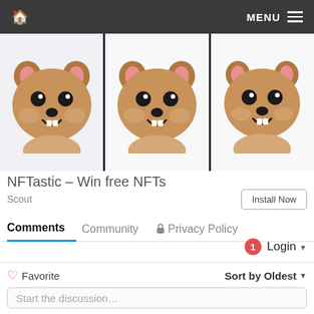Home | MENU
[Figure (illustration): Three cartoon quokka (bear-like animal) characters shown side by side as NFT artwork panels with yellow-tinted card borders on a light gray background]
NFTastic – Win free NFTs
Scout
Install Now
Comments    Community    🔒 Privacy Policy
1  Login ▾
♡ Favorite    Sort by Oldest ▾
Start the discussion...
LOG IN WITH